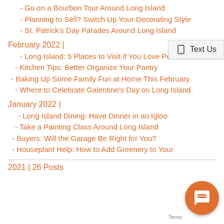- Go on a Bourbon Tour Around Long Island
- Planning to Sell? Switch Up Your Decorating Style
- St. Patrick's Day Parades Around Long Island
February 2022 |
- Long Island: 5 Places to Visit if You Love Pea…
- Kitchen Tips: Better Organize Your Pantry
- Baking Up Some Family Fun at Home This February
- Where to Celebrate Galentine's Day on Long Island
January 2022 |
- Long Island Dining: Have Dinner in an Igloo
- Take a Painting Class Around Long Island
- Buyers: Will the Garage Be Right for You?
- Houseplant Help: How to Add Greenery to Your…
2021 | 26 Posts